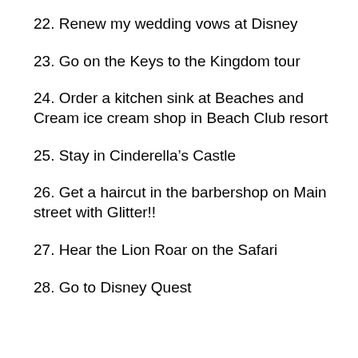22. Renew my wedding vows at Disney
23. Go on the Keys to the Kingdom tour
24. Order a kitchen sink at Beaches and Cream ice cream shop in Beach Club resort
25. Stay in Cinderella’s Castle
26. Get a haircut in the barbershop on Main street with Glitter!!
27. Hear the Lion Roar on the Safari
28. Go to Disney Quest